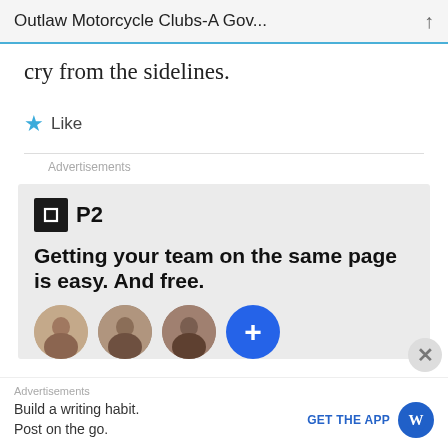Outlaw Motorcycle Clubs-A Gov...
cry from the sidelines.
★ Like
Advertisements
[Figure (screenshot): P2 advertisement: Getting your team on the same page is easy. And free. Shows avatars of people and a blue plus button.]
Advertisements
Build a writing habit. Post on the go.
GET THE APP